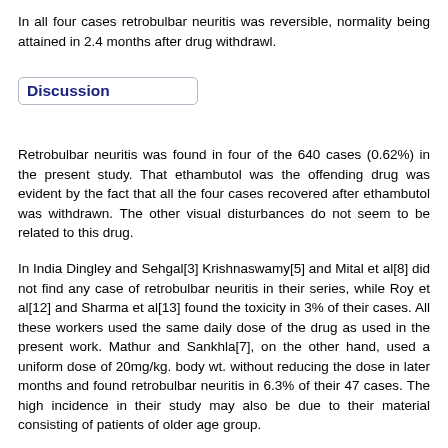In all four cases retrobulbar neuritis was reversible, normality being attained in 2.4 months after drug withdrawl.
Discussion
Retrobulbar neuritis was found in four of the 640 cases (0.62%) in the present study. That ethambutol was the offending drug was evident by the fact that all the four cases recovered after ethambutol was withdrawn. The other visual disturbances do not seem to be related to this drug.
In India Dingley and Sehgal[3] Krishnaswamy[5] and Mital et al[8] did not find any case of retrobulbar neuritis in their series, while Roy et al[12] and Sharma et al[13] found the toxicity in 3% of their cases. All these workers used the same daily dose of the drug as used in the present work. Mathur and Sankhla[7], on the other hand, used a uniform dose of 20mg/kg. body wt. without reducing the dose in later months and found retrobulbar neuritis in 6.3% of their 47 cases. The high incidence in their study may also be due to their material consisting of patients of older age group.
A correlation between the incidence of ocular toxicity and the daily dose of ethambutol has been. noted by many workers. Thus Kass[4] found confirmed neuritis in 60 patients given 50mg/ body wt. while Leibold[6] found it in 18% of 59 patients given daily doses greater than 35mg/kg. body wt. Citron[2] and Pyle[11] among patients given 25mg/kg. body wt. ethambutol found neuritis